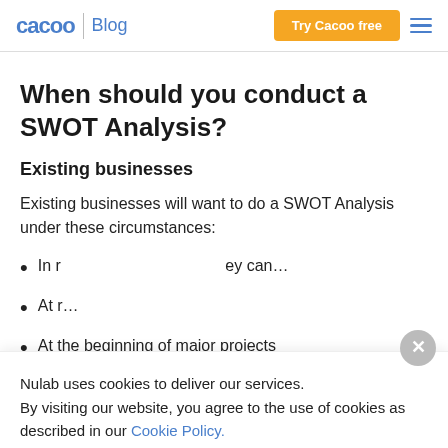cacoo | Blog — Try Cacoo free
When should you conduct a SWOT Analysis?
Existing businesses
Existing businesses will want to do a SWOT Analysis under these circumstances:
In r… ey can…
At r…
At the beginning of major projects
Nulab uses cookies to deliver our services. By visiting our website, you agree to the use of cookies as described in our Cookie Policy.